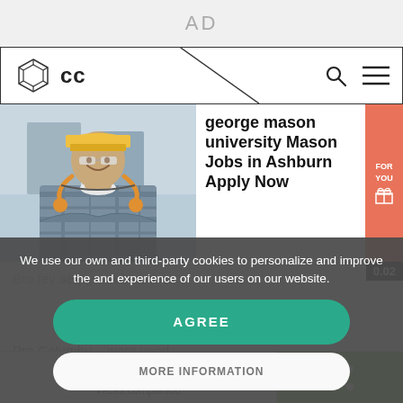AD
cc (logo navigation bar)
[Figure (photo): Construction worker wearing yellow hard hat, safety glasses, and plaid shirt with ear protection around neck, smiling with arms crossed]
george mason university Mason Jobs in Ashburn Apply Now
We use our own and third-party cookies to personalize and improve the and experience of our users on our website.
AGREE
MORE INFORMATION
Pre-Columbian ... were used by the Azt... ...d in
141
Veces compartido